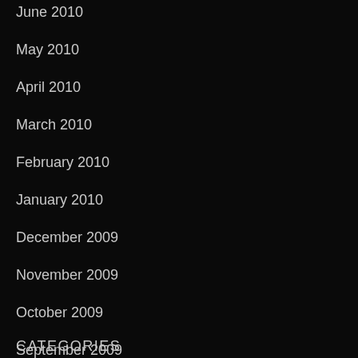June 2010
May 2010
April 2010
March 2010
February 2010
January 2010
December 2009
November 2009
October 2009
September 2009
August 2009
CATEGORIES